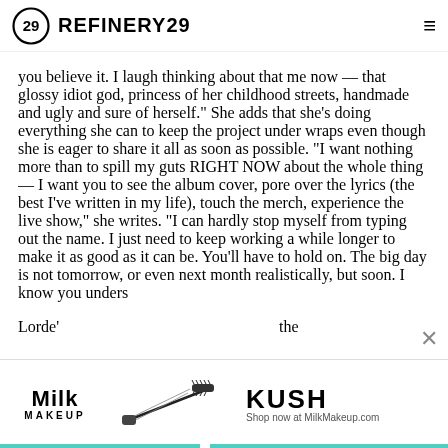REFINERY29
you believe it. I laugh thinking about that me now — that glossy idiot god, princess of her childhood streets, handmade and ugly and sure of herself." She adds that she's doing everything she can to keep the project under wraps even though she is eager to share it all as soon as possible. "I want nothing more than to spill my guts RIGHT NOW about the whole thing — I want you to see the album cover, pore over the lyrics (the best I've written in my life), touch the merch, experience the live show," she writes. "I can hardly stop myself from typing out the name. I just need to keep working a while longer to make it as good as it can be. You'll have to hold on. The big day is not tomorrow, or even next month realistically, but soon. I know you unders Lorde'
[Figure (other): Milk Makeup KUSH mascara advertisement banner with mascara wand image and text 'Shop now at MilkMakeup.com']